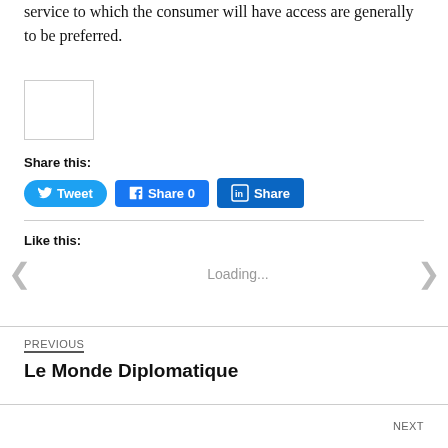service to which the consumer will have access are generally to be preferred.
[Figure (other): Small image placeholder with border]
Share this:
[Figure (other): Share buttons: Tweet, Share 0 (Facebook), Share (LinkedIn)]
Like this:
Loading...
PREVIOUS
Le Monde Diplomatique
NEXT